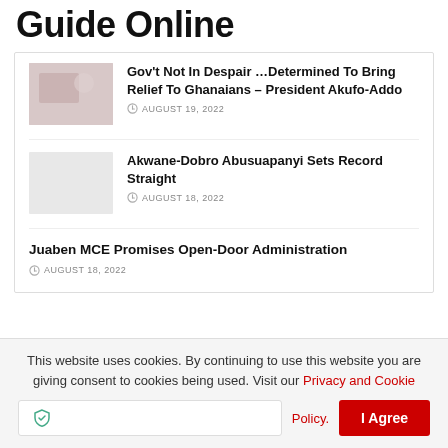Guide Online
Gov't Not In Despair …Determined To Bring Relief To Ghanaians – President Akufo-Addo
AUGUST 19, 2022
Akwane-Dobro Abusuapanyi Sets Record Straight
AUGUST 18, 2022
Juaben MCE Promises Open-Door Administration
AUGUST 18, 2022
This website uses cookies. By continuing to use this website you are giving consent to cookies being used. Visit our Privacy and Cookie Policy.
I Agree